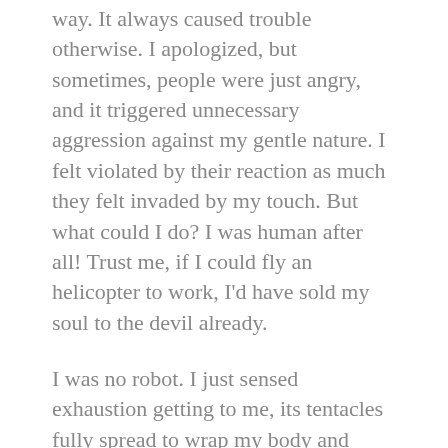way. It always caused trouble otherwise. I apologized, but sometimes, people were just angry, and it triggered unnecessary aggression against my gentle nature. I felt violated by their reaction as much they felt invaded by my touch. But what could I do? I was human after all! Trust me, if I could fly an helicopter to work, I'd have sold my soul to the devil already.
I was no robot. I just sensed exhaustion getting to me, its tentacles fully spread to wrap my body and suckle deep on the little energy I had left. I wanted to eat.
Should I call the delivery guy? I had enough of takeouts. I always ordered the same stuff, and it ranged between Chinese, Japanese or Italian. So much for variety... I was, however, in no mood for